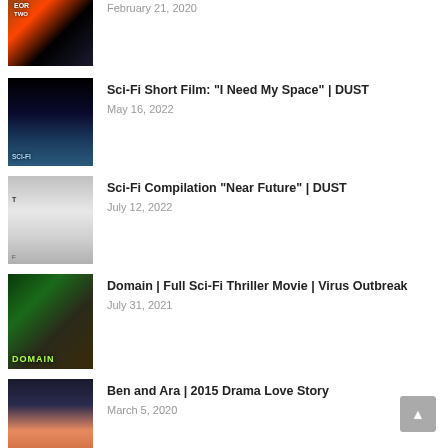February 21, 2020
Sci-Fi Short Film: "I Need My Space" | DUST
May 16, 2022
Sci-Fi Compilation "Near Future" | DUST
July 12, 2022
Domain | Full Sci-Fi Thriller Movie | Virus Outbreak
July 31, 2021
Ben and Ara | 2015 Drama Love Story
March 5, 2020